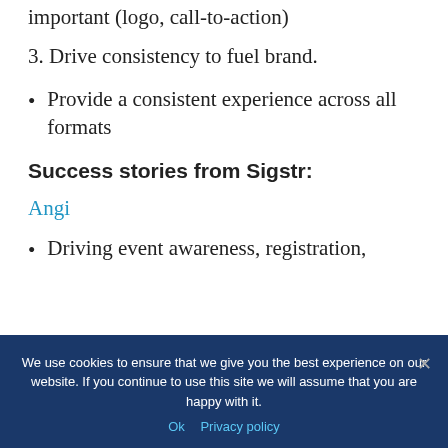important (logo, call-to-action)
3. Drive consistency to fuel brand.
Provide a consistent experience across all formats
Success stories from Sigstr:
Angi
Driving event awareness, registration,
We use cookies to ensure that we give you the best experience on our website. If you continue to use this site we will assume that you are happy with it.
Ok   Privacy policy